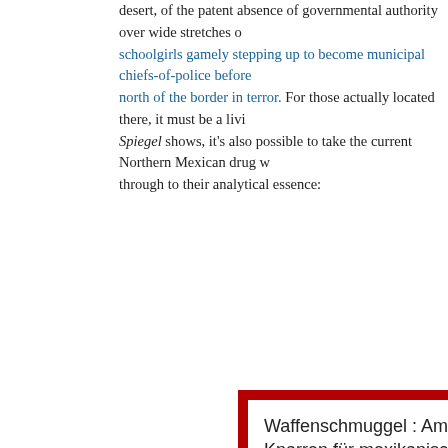desert, of the patent absence of governmental authority over wide stretches of... schoolgirls gamely stepping up to become municipal chiefs-of-police before north of the border in terror. For those actually located there, it must be a living... Spiegel shows, it's also possible to take the current Northern Mexican drug w... through to their analytical essence:
[Figure (screenshot): A tweet screenshot with red border background. Tweet text: 'Waffenschmuggel : Amerikanische Knarren für mexikanische Gangster… http://tinyurl.com/5u4g4'. Posted April 30, 2011 7:35 am via SPIEGEL ONLINE. Reply, Retweet, Favorite options shown. User @SPIEGEL_Politik with display name SPIEGEL Politik.]
It's fairly simple, writes New York correspondent Marc Pitzke in Dirty busin... basically a straight two-way deal of drugs headed one way, weapons the othe...
These drug wars constitute a tremendous problem for Mexico – not to mentio... Americans who happen to be traveling there – but the clear implication is tha... much of the blame. Secretary of State Hillary Clinton admitted as much two... Mexico City, in a quote Pitzke features here (translated back from the Germa...